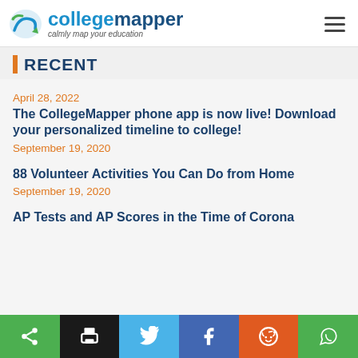collegemapper — calmly map your education
RECENT
April 28, 2022
The CollegeMapper phone app is now live! Download your personalized timeline to college!
September 19, 2020
88 Volunteer Activities You Can Do from Home
September 19, 2020
AP Tests and AP Scores in the Time of Corona
Share | Print | Twitter | Facebook | Reddit | WhatsApp